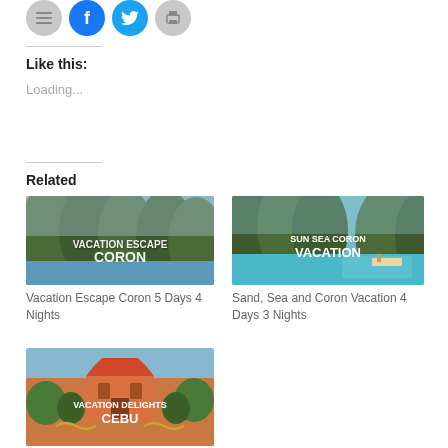[Figure (other): Social sharing icon buttons: gray, Facebook blue, Twitter blue, gray print]
Like this:
Loading...
Related
[Figure (photo): Vacation Escape Coron travel package image showing karst mountains and water with text overlay 'VACATION ESCAPE CORON']
Vacation Escape Coron 5 Days 4 Nights
[Figure (photo): Sun Sea Coron Vacation travel package image showing turquoise water and boats with text overlay 'SUN SEA CORON VACATION']
Sand, Sea and Coron Vacation 4 Days 3 Nights
[Figure (photo): Vacation Delights Cebu travel package image showing a temple/pagoda with text overlay 'VACATION DELIGHTS CEBU']